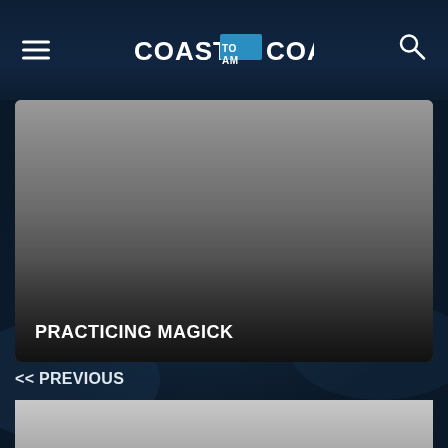COAST TO COAST AM
[Figure (screenshot): Gray placeholder image card with text overlay 'PRACTICING MAGICK' at bottom left]
<< PREVIOUS
[Figure (screenshot): Gray placeholder image card, partially visible at bottom of page]